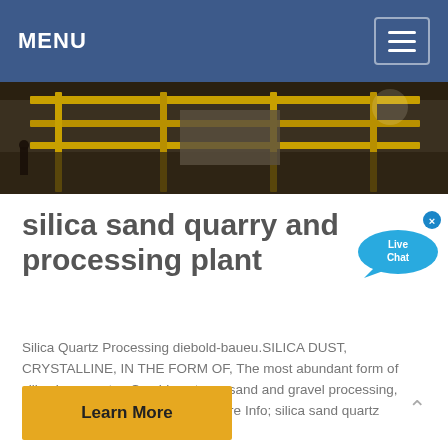MENU
[Figure (photo): Industrial quarry or processing plant interior showing yellow metal structures, conveyor belts and equipment]
silica sand quarry and processing plant
Silica Quartz Processing diebold-baueu.SILICA DUST, CRYSTALLINE, IN THE FORM OF, The most abundant form of silica is α-quartz,, Crushing stone, sand and gravel processing, monumental stone cutting and, More Info; silica sand quartz processing plant
Learn More